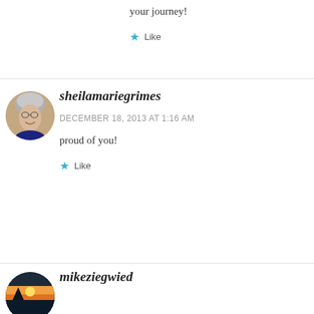your journey!
Like
sheilamariegrimes
DECEMBER 18, 2013 AT 1:16 AM
proud of you!
Like
mikeziegwied